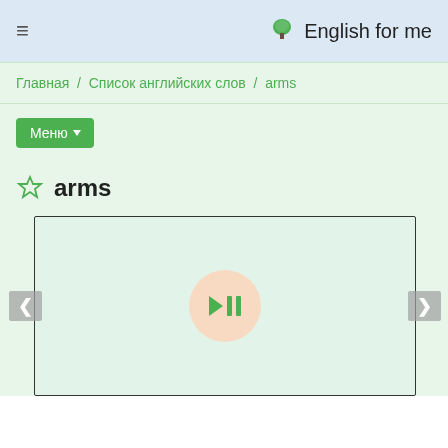≡  🌳 English for me
Главная / Список английских слов / arms
Меню ▼
☆ arms
[Figure (other): Audio player widget with play/pause button (green triangle + pause bars) centered in a bordered rectangle with left and right navigation arrows on the sides]